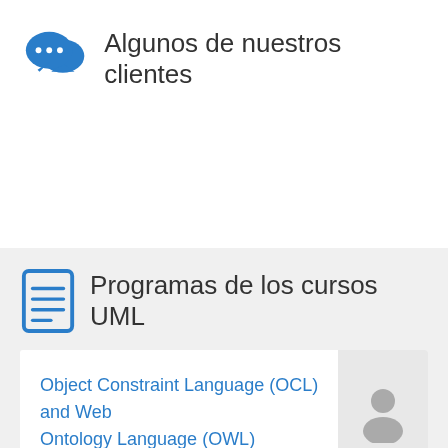Algunos de nuestros clientes
Programas de los cursos UML
Object Constraint Language (OCL) and Web Ontology Language (OWL)